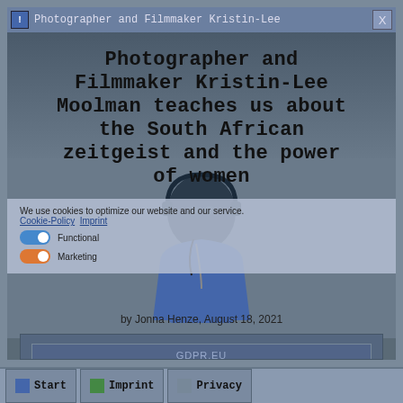Photographer and Filmmaker Kristin-Lee
Photographer and Filmmaker Kristin-Lee Moolman teaches us about the South African zeitgeist and the power of women
We use cookies to optimize our website and our service. Cookie-Policy  Imprint
Functional
Marketing
by Jonna Henze, August 18, 2021
[Figure (screenshot): Cookie consent dialog overlaying a webpage with toggles for Functional and Marketing cookies, and a SAVE PREFERENCES button. Background shows a person wearing headphones, photographed outdoors.]
Start   Imprint   Privacy